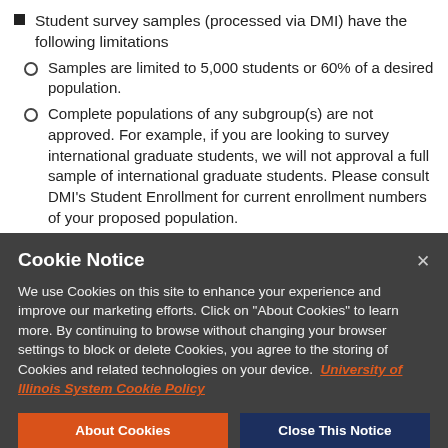Student survey samples (processed via DMI) have the following limitations
Samples are limited to 5,000 students or 60% of a desired population.
Complete populations of any subgroup(s) are not approved. For example, if you are looking to survey international graduate students, we will not approval a full sample of international graduate students. Please consult DMI's Student Enrollment for current enrollment numbers of your proposed population.
Cookie Notice
We use Cookies on this site to enhance your experience and improve our marketing efforts. Click on "About Cookies" to learn more. By continuing to browse without changing your browser settings to block or delete Cookies, you agree to the storing of Cookies and related technologies on your device. University of Illinois System Cookie Policy